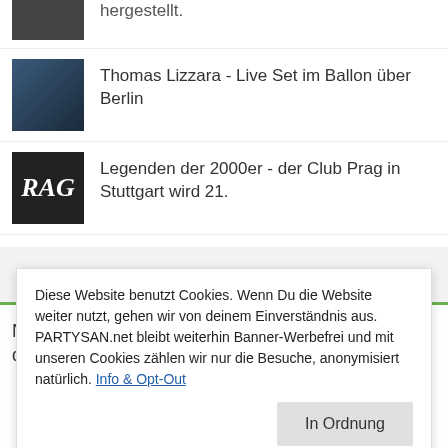hergestellt.
Thomas Lizzara - Live Set im Ballon über Berlin
Legenden der 2000er - der Club Prag in Stuttgart wird 21.
PARTYSAN MAILING LIST
Neue Artikel @PARTYSAN.net werden zuerst an diesen
Diese Website benutzt Cookies. Wenn Du die Website weiter nutzt, gehen wir von deinem Einverständnis aus. PARTYSAN.net bleibt weiterhin Banner-Werbefrei und mit unseren Cookies zählen wir nur die Besuche, anonymisiert natürlich. Info & Opt-Out
In Ordnung